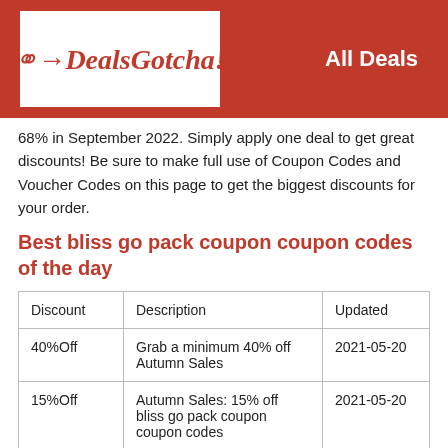DealsGotcha! — All Deals
68% in September 2022. Simply apply one deal to get great discounts! Be sure to make full use of Coupon Codes and Voucher Codes on this page to get the biggest discounts for your order.
Best bliss go pack coupon coupon codes of the day
| Discount | Description | Updated |
| --- | --- | --- |
| 40%Off | Grab a minimum 40% off Autumn Sales | 2021-05-20 |
| 15%Off | Autumn Sales: 15% off bliss go pack coupon coupon codes | 2021-05-20 |
| 20%Off | Save up to 20% with Back to School sale | 2021-05-20 |